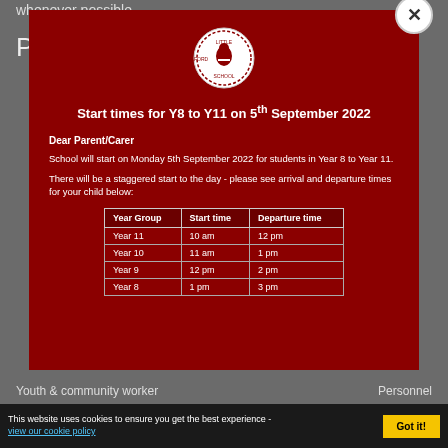whenever possible.
Possible Careers
[Figure (screenshot): School popup modal on dark grey website background. Modal has dark red background with school logo at top, title 'Start times for Y8 to Y11 on 5th September 2022', letter text to Parent/Carer, and a table showing year groups with start and departure times.]
| Year Group | Start time | Departure time |
| --- | --- | --- |
| Year 11 | 10 am | 12 pm |
| Year 10 | 11 am | 1 pm |
| Year 9 | 12 pm | 2 pm |
| Year 8 | 1 pm | 3 pm |
Youth & community worker
Personnel
This website uses cookies to ensure you get the best experience - view our cookie policy